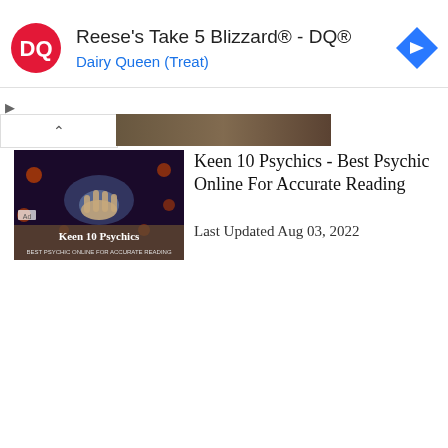[Figure (screenshot): Dairy Queen DQ advertisement banner with DQ logo, navigation arrow icon, title 'Reese's Take 5 Blizzard® - DQ®' and subtitle 'Dairy Queen (Treat)']
[Figure (photo): Thumbnail image for 'Keen 10 Psychics - Best Psychic Online For Accurate Reading' article, showing a hand with mystical/psychic imagery and text overlay 'Keen 10 Psychics']
Keen 10 Psychics - Best Psychic Online For Accurate Reading
Last Updated Aug 03, 2022